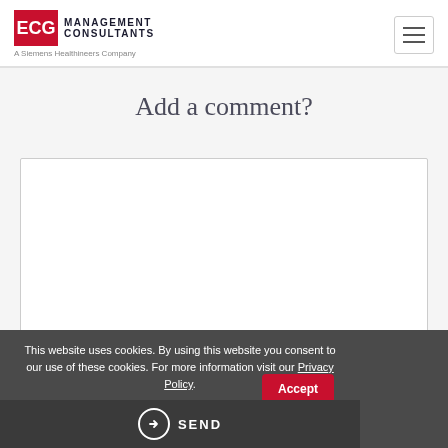ECG MANAGEMENT CONSULTANTS — A Siemens Healthineers Company
Add a comment?
[Figure (screenshot): Empty white comment text input box with border]
This website uses cookies. By using this website you consent to our use of these cookies. For more information visit our Privacy Policy.
[Figure (other): reCAPTCHA widget with checkbox icon and Privacy/Terms text]